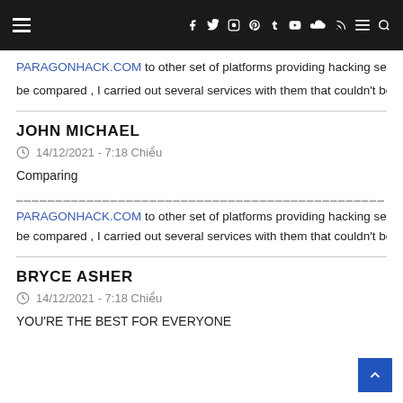Navigation bar with hamburger menu and social icons
PARAGONHACK.COM to other set of platforms providing hacking servi… be compared , I carried out several services with them that couldn't be c…
JOHN MICHAEL
14/12/2021 - 7:18 Chiều
Comparing
PARAGONHACK.COM to other set of platforms providing hacking servic… be compared , I carried out several services with them that couldn't be c…
BRYCE ASHER
14/12/2021 - 7:18 Chiều
YOU'RE THE BEST FOR EVERYONE